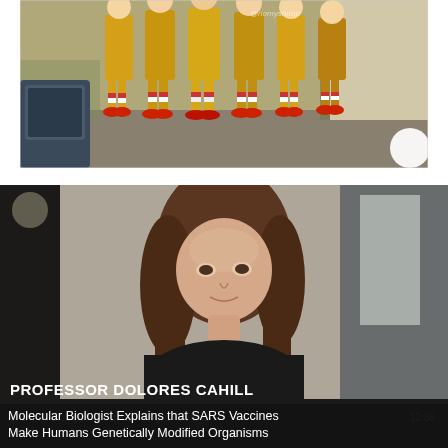[Figure (photo): Photograph of multiple people dressed in yellow Ronald McDonald costumes with red shoes and striped socks, standing together outdoors. Watermark text visible: '@nomyshrmp']
[Figure (screenshot): Screenshot of a video featuring Professor Dolores Cahill, described as Biologist and Immunologist from Ireland. View count shows 14.4K, duration 12:36. Title reads 'Molecular Biologist Explains that SARS Vaccines Make Humans Genetically Modified Organisms']
PROFESSOR DOLORES CAHILL
14.4K Biologist and Immunologist / Ireland   12:36
Molecular Biologist Explains that SARS Vaccines Make Humans Genetically Modified Organisms